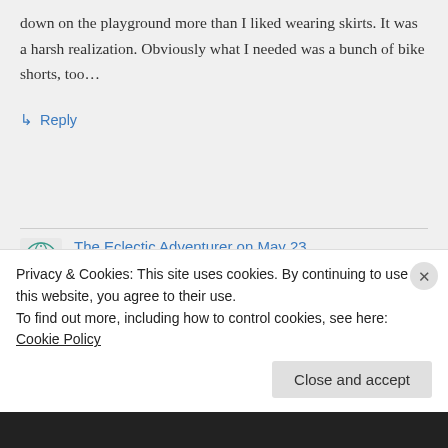down on the playground more than I liked wearing skirts. It was a harsh realization. Obviously what I needed was a bunch of bike shorts, too…
↳ Reply
The Eclectic Adventurer on May 23, 2011 at 1:07 pm
Somehow, I can't remember bike
Privacy & Cookies: This site uses cookies. By continuing to use this website, you agree to their use.
To find out more, including how to control cookies, see here: Cookie Policy